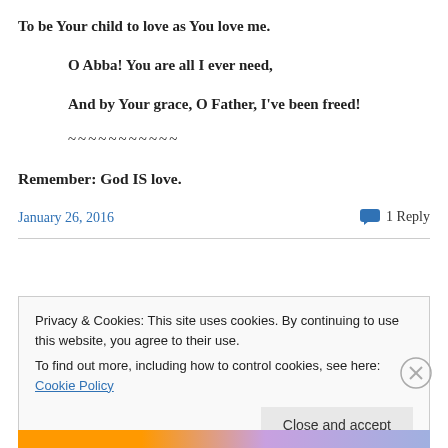To be Your child to love as You love me.
O Abba! You are all I ever need,
And by Your grace, O Father, I've been freed!
~~~~~~~~~~~
Remember: God IS love.
January 26, 2016
1 Reply
Privacy & Cookies: This site uses cookies. By continuing to use this website, you agree to their use.
To find out more, including how to control cookies, see here: Cookie Policy
Close and accept